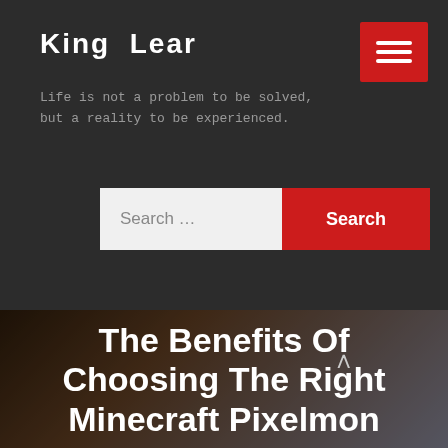King Lear
Life is not a problem to be solved, but a reality to be experienced.
[Figure (screenshot): Search bar with text input field showing 'Search ...' placeholder and a red Search button]
The Benefits Of Choosing The Right Minecraft Pixelmon